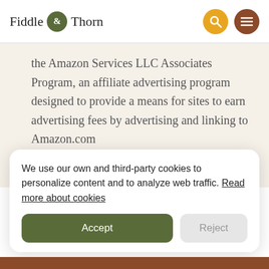Fiddle & Thorn
the Amazon Services LLC Associates Program, an affiliate advertising program designed to provide a means for sites to earn advertising fees by advertising and linking to Amazon.com
We use our own and third-party cookies to personalize content and to analyze web traffic. Read more about cookies